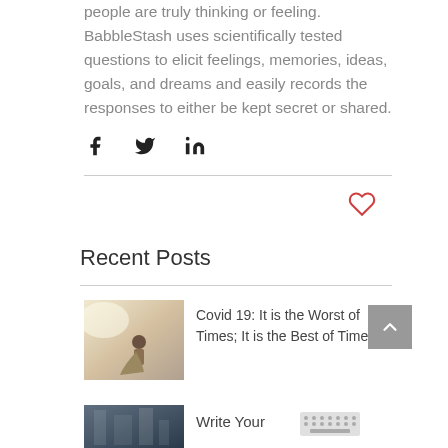people are truly thinking or feeling. BabbleStash uses scientifically tested questions to elicit feelings, memories, ideas, goals, and dreams and easily records the responses to either be kept secret or shared.
[Figure (infographic): Social share icons: Facebook (f), Twitter (bird), LinkedIn (in)]
[Figure (infographic): Heart/like icon outline in salmon/red color]
Recent Posts
[Figure (photo): Photo of a child or person jumping with arms raised against a bright sky]
Covid 19: It is the Worst of Times; It is the Best of Times
[Figure (infographic): Back to top button - grey square with white upward chevron arrow]
[Figure (photo): Second post thumbnail photo - dark building/architectural image]
Write Your